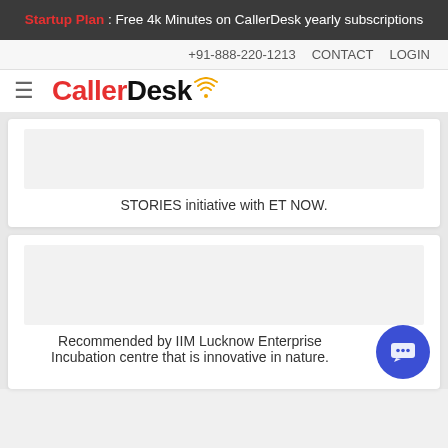Startup Plan : Free 4k Minutes on CallerDesk yearly subscriptions
+91-888-220-1213  CONTACT  LOGIN
[Figure (logo): CallerDesk logo with hamburger menu icon]
STORIES initiative with ET NOW.
Recommended by IIM Lucknow Enterprise Incubation centre that is innovative in nature.